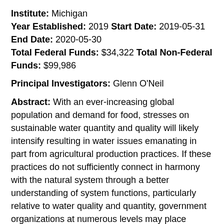Institute: Michigan Year Established: 2019 Start Date: 2019-05-31 End Date: 2020-05-30 Total Federal Funds: $34,322 Total Non-Federal Funds: $99,986
Principal Investigators: Glenn O'Neil
Abstract: With an ever-increasing global population and demand for food, stresses on sustainable water quantity and quality will likely intensify resulting in water issues emanating in part from agricultural production practices. If these practices do not sufficiently connect in harmony with the natural system through a better understanding of system functions, particularly relative to water quality and quantity, government organizations at numerous levels may place greater